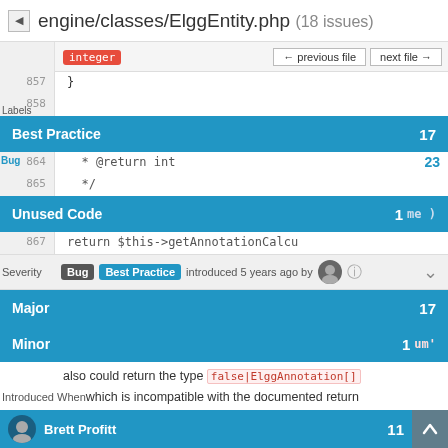engine/classes/ElggEntity.php (18 issues)
[Figure (screenshot): Code review interface showing PHP file engine/classes/ElggEntity.php with 18 issues. Shows code lines 857, 858, 864, 865, 867 with issue categories: Best Practice (17), Bug (23), Unused Code (1), Major (17), Minor (1). Annotation shows Bug and Best Practice tags introduced 5 years ago. Issue text: also could return the type false|ElggAnnotation[] which is incompatible with the documented return type integer. Bottom bar shows Brett Profitt with count 11.]
also could return the type false|ElggAnnotation[] which is incompatible with the documented return type integer.
Brett Profitt 11